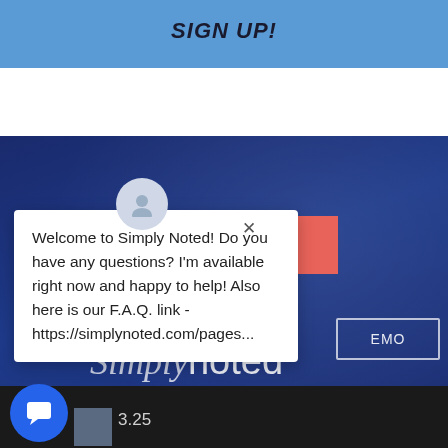SIGN UP!
[Figure (screenshot): Dark blue website background with a coral/red 'REQUEST SAMPLE' button and partial 'EMO' button visible, with a dashed line and 'Simply noted' branding text]
Welcome to Simply Noted! Do you have any questions? I'm available right now and happy to help! Also here is our F.A.Q. link - https://simplynoted.com/pages...
3.25